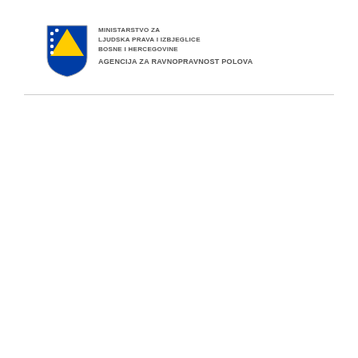MINISTARSTVO ZA LJUDSKA PRAVA I IZBJEGLICE BOSNE I HERCEGOVINE
AGENCIJA ZA RAVNOPRAVNOST POLOVA